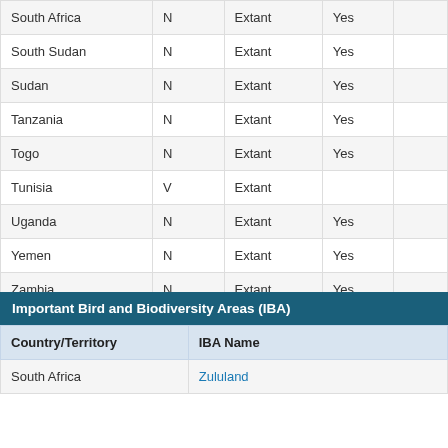| Country | Origin | Status | Presence |  |
| --- | --- | --- | --- | --- |
| South Africa | N | Extant | Yes |  |
| South Sudan | N | Extant | Yes |  |
| Sudan | N | Extant | Yes |  |
| Tanzania | N | Extant | Yes |  |
| Togo | N | Extant | Yes |  |
| Tunisia | V | Extant |  |  |
| Uganda | N | Extant | Yes |  |
| Yemen | N | Extant | Yes |  |
| Zambia | N | Extant | Yes |  |
| Zimbabwe | N | Extant | Yes |  |
Important Bird and Biodiversity Areas (IBA)
| Country/Territory | IBA Name |
| --- | --- |
| South Africa | Zululand |